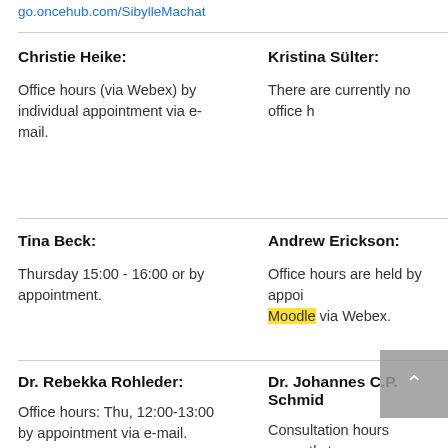go.oncehub.com/SibylleMachat
Christie Heike:
Office hours (via Webex) by individual appointment via e-mail.
Kristina Sülter:
There are currently no office h
Tina Beck:
Thursday 15:00 - 16:00 or by appointment.
Andrew Erickson:
Office hours are held by appoi Moodle via Webex.
Dr. Rebekka Rohleder:
Office hours: Thu, 12:00-13:00 by appointment via e-mail.
Dr. Johannes C.P. Schmid
Consultation hours currently t exclusively online. Please mak appointments individually by e